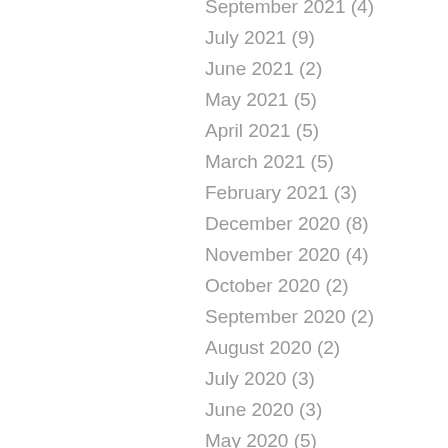September 2021 (4)
July 2021 (9)
June 2021 (2)
May 2021 (5)
April 2021 (5)
March 2021 (5)
February 2021 (3)
December 2020 (8)
November 2020 (4)
October 2020 (2)
September 2020 (2)
August 2020 (2)
July 2020 (3)
June 2020 (3)
May 2020 (5)
March 2020 (5)
February 2020 (3)
January 2020 (9)
December 2019 (1)
November 2019 (4)
October 2019 (3)